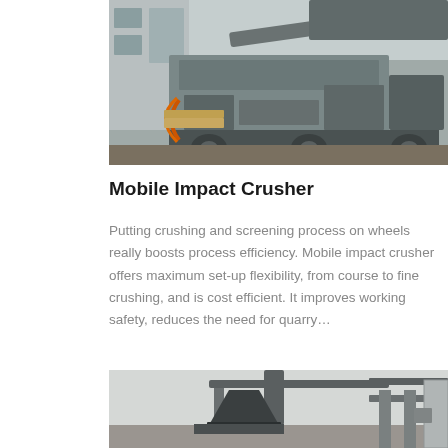[Figure (photo): Mobile impact crusher machine photographed outdoors near a building, showing heavy industrial equipment on wheels with mechanical components visible.]
Mobile Impact Crusher
Putting crushing and screening process on wheels really boosts process efficiency. Mobile impact crusher offers maximum set-up flexibility, from course to fine crushing, and is cost efficient. It improves working safety, reduces the need for quarry…
[Figure (photo): Industrial crushing/grinding equipment photographed inside a facility or warehouse, showing mechanical machinery with pipes, a funnel/bucket, and structural components.]